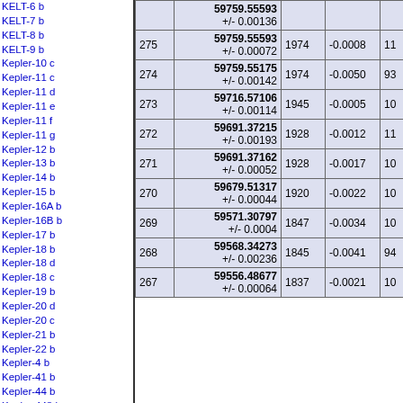KELT-6 b
KELT-7 b
KELT-8 b
KELT-9 b
Kepler-10 c
Kepler-11 c
Kepler-11 d
Kepler-11 e
Kepler-11 f
Kepler-11 g
Kepler-12 b
Kepler-13 b
Kepler-14 b
Kepler-15 b
Kepler-16A b
Kepler-16B b
Kepler-17 b
Kepler-18 b
Kepler-18 d
Kepler-18 c
Kepler-19 b
Kepler-20 d
Kepler-20 c
Kepler-21 b
Kepler-22 b
Kepler-4 b
Kepler-41 b
Kepler-44 b
Kepler-448 b
Kepler-5 b
Kepler-6 b
Kepler-7 b
Kepler-8 b
Kepler-9 b
Kepler-9 c
| # | JD | Year | Dec |  |
| --- | --- | --- | --- | --- |
| 275 | 59759.55593
+/- 0.00072 | 1974 | -0.0008 | 11 |
| 274 | 59759.55175
+/- 0.00142 | 1974 | -0.0050 | 93 |
| 273 | 59716.57106
+/- 0.00114 | 1945 | -0.0005 | 10 |
| 272 | 59691.37215
+/- 0.00193 | 1928 | -0.0012 | 11 |
| 271 | 59691.37162
+/- 0.00052 | 1928 | -0.0017 | 10 |
| 270 | 59679.51317
+/- 0.00044 | 1920 | -0.0022 | 10 |
| 269 | 59571.30797
+/- 0.0004 | 1847 | -0.0034 | 10 |
| 268 | 59568.34273
+/- 0.00236 | 1845 | -0.0041 | 94 |
| 267 | 59556.48677
+/- 0.00064 | 1837 | -0.0021 | 10 |